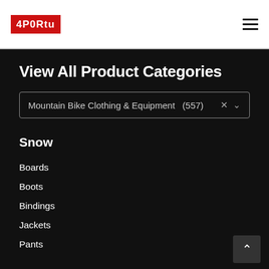[Figure (logo): 4FORTY logo in white text on red background]
View All Product Categories
Mountain Bike Clothing & Equipment  (557)
Snow
Boards
Boots
Bindings
Jackets
Pants